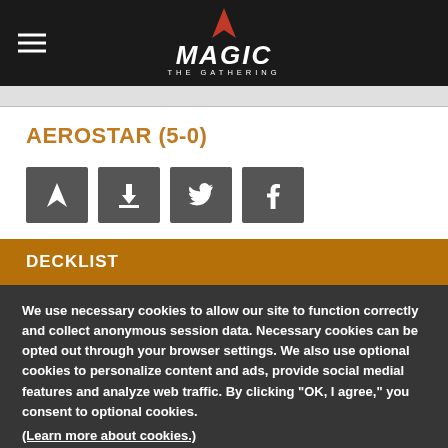Magic: The Gathering
AEROSTAR (5-0)
[Figure (screenshot): Four dark gray icon buttons: Magic Arena logo, download arrow, Twitter bird, Facebook f]
DECKLIST
We use necessary cookies to allow our site to function correctly and collect anonymous session data. Necessary cookies can be opted out through your browser settings. We also use optional cookies to personalize content and ads, provide social medial features and analyze web traffic. By clicking “OK, I agree,” you consent to optional cookies. (Learn more about cookies.)
OK, I agree   No, thanks